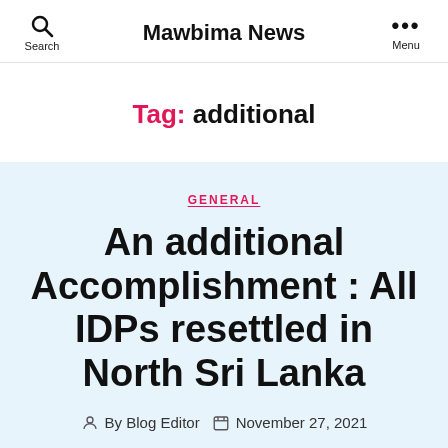Mawbima News
Tag: additional
GENERAL
An additional Accomplishment : All IDPs resettled in North Sri Lanka
By Blog Editor  November 27, 2021